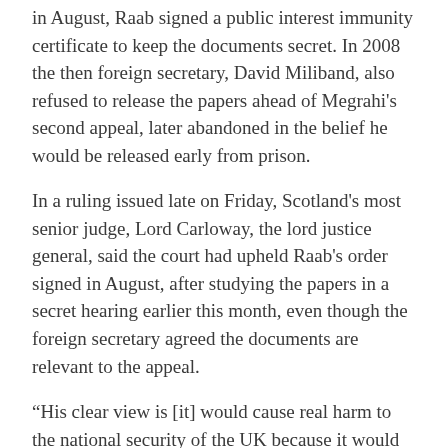in August, Raab signed a public interest immunity certificate to keep the documents secret. In 2008 the then foreign secretary, David Miliband, also refused to release the papers ahead of Megrahi's second appeal, later abandoned in the belief he would be released early from prison.
In a ruling issued late on Friday, Scotland's most senior judge, Lord Carloway, the lord justice general, said the court had upheld Raab's order signed in August, after studying the papers in a secret hearing earlier this month, even though the foreign secretary agreed the documents are relevant to the appeal.
“His clear view is [it] would cause real harm to the national security of the UK because it would damage counter-terrorism liaison and intelligence gathering between the UK and other states,” Carloway said, referring to Raab’s submission. “The documents had been provided in confidence to the government. Their disclosure would reduce the willingness of the state, which produced the documents, to confide information and to co-operate with the UK.”